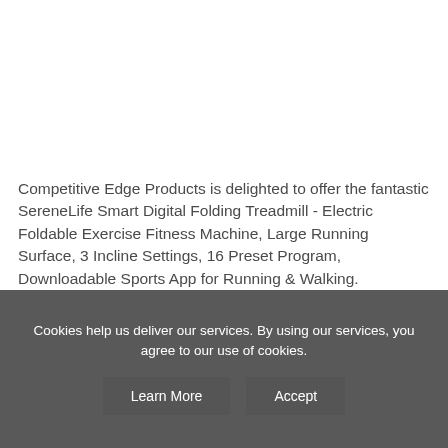Competitive Edge Products is delighted to offer the fantastic SereneLife Smart Digital Folding Treadmill - Electric Foldable Exercise Fitness Machine, Large Running Surface, 3 Incline Settings, 16 Preset Program, Downloadable Sports App for Running & Walking.
With so many available these days, it is good to have a
Cookies help us deliver our services. By using our services, you agree to our use of cookies.